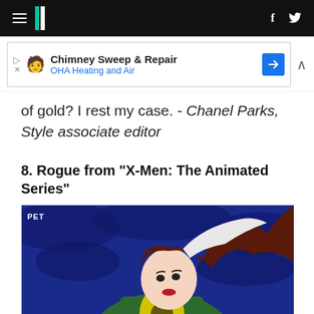HuffPost navigation header with hamburger menu, logo, Facebook and Twitter icons
[Figure (screenshot): Advertisement banner: Chimney Sweep & Repair - OHA Heating and Air]
of gold? I rest my case. - Chanel Parks, Style associate editor
8. Rogue from "X-Men: The Animated Series"
[Figure (photo): Animated image of Rogue from X-Men: The Animated Series, with red and white hair, wearing a green jacket and yellow costume, against a blue background. PET watermark in top left.]